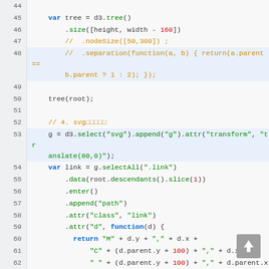Code snippet lines 44-71, JavaScript/D3.js tree visualization code
[Figure (screenshot): Scroll-to-top button in bottom right corner]